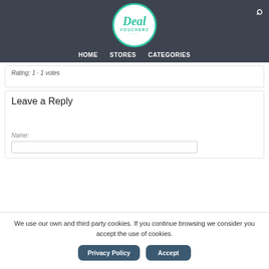[Figure (logo): Deal Voucherz logo - circular green bordered logo with italic 'Deal' text and 'VOUCHERZ' below with three dots]
HOME   STORES   CATEGORIES
Rating: 1 · 1 votes
Leave a Reply
Name:
We use our own and third party cookies. If you continue browsing we consider you accept the use of cookies.
Privacy Policy   Accept